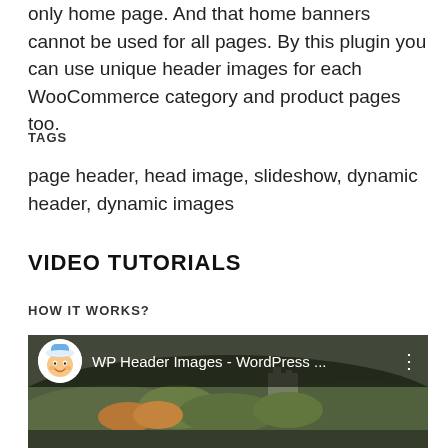only home page. And that home banners cannot be used for all pages. By this plugin you can use unique header images for each WooCommerce category and product pages too.
TAGS
page header, head image, slideshow, dynamic header, dynamic images
VIDEO TUTORIALS
HOW IT WORKS?
[Figure (screenshot): YouTube video thumbnail showing 'WP Header Images - WordPress ...' with a cartoon avatar icon and a landscape background of a castle on a hill with autumn foliage.]